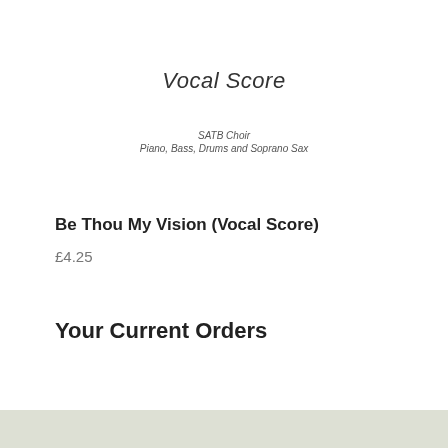Vocal Score
SATB Choir
Piano, Bass, Drums and Soprano Sax
Be Thou My Vision (Vocal Score)
£4.25
Your Current Orders